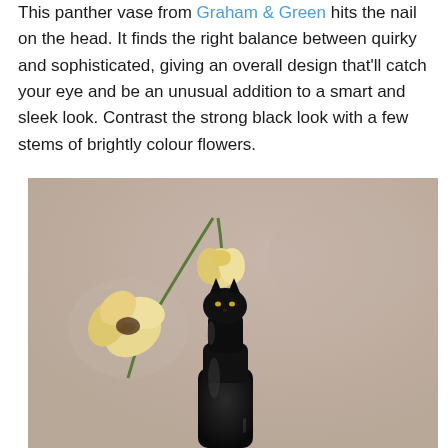This panther vase from Graham & Green hits the nail on the head. It finds the right balance between quirky and sophisticated, giving an overall design that'll catch your eye and be an unusual addition to a smart and sleek look. Contrast the strong black look with a few stems of brightly colour flowers.
[Figure (photo): A black glossy ceramic panther-shaped vase with yellow-orange tulip flowers drooping from its top, photographed against a beige/mauve matte background.]